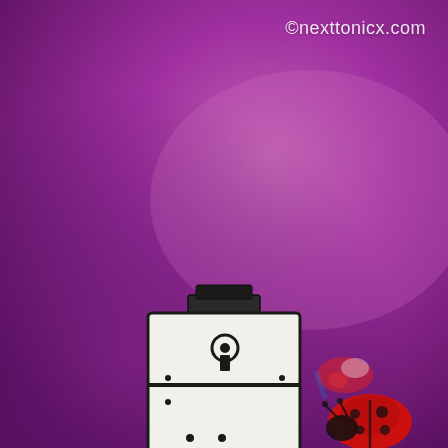[Figure (photo): A paper craft robot toy standing on a purple gradient background. The robot has a rectangular white body with a keyhole symbol on the upper torso, black outlines, small dot details, and a smaller lower torso section. The robot's smaller body shows the number '3' in red and a heart outline. To the right background are blurred toy figures including a red ladybug toy in the foreground right.]
©nexttonicx.com